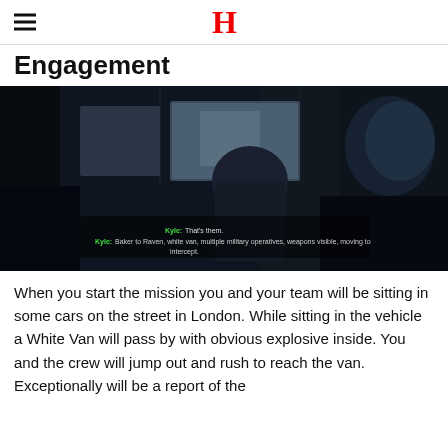H
Engagement
[Figure (screenshot): Dark video game screenshot showing interior of a vehicle at night, with characters visible. Subtitle text reads: 'Kyle: That's them.' and 'Kyle: Baker to Raven, white van, multiple military operatives, weapons visible, moving to intercept.']
When you start the mission you and your team will be sitting in some cars on the street in London. While sitting in the vehicle a White Van will pass by with obvious explosive inside. You and the crew will jump out and rush to reach the van. Exceptionally will be a report of the